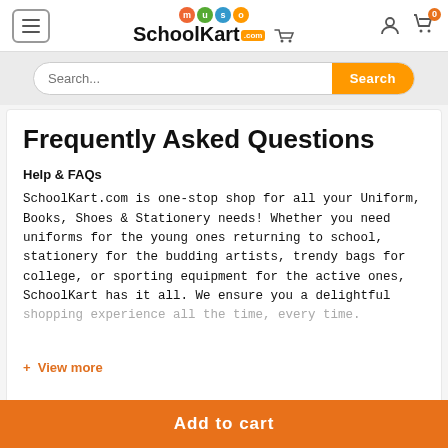SchoolKart.com
Frequently Asked Questions
Help & FAQs
SchoolKart.com is one-stop shop for all your Uniform, Books, Shoes & Stationery needs! Whether you need uniforms for the young ones returning to school, stationery for the budding artists, trendy bags for college, or sporting equipment for the active ones, SchoolKart has it all. We ensure you a delightful shopping experience all the time, every time.
+ View more
Add to cart